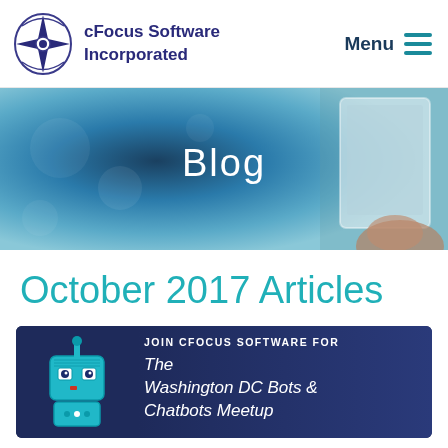cFocus Software Incorporated | Menu
[Figure (photo): Hero banner with blurred teal/blue background showing a hand holding a tablet, with 'Blog' text overlay in white]
Blog
October 2017 Articles
[Figure (photo): Article card with dark navy background showing a robot illustration on left and text 'JOIN cFOCUS SOFTWARE FOR The Washington DC Bots & Chatbots Meetup' on right]